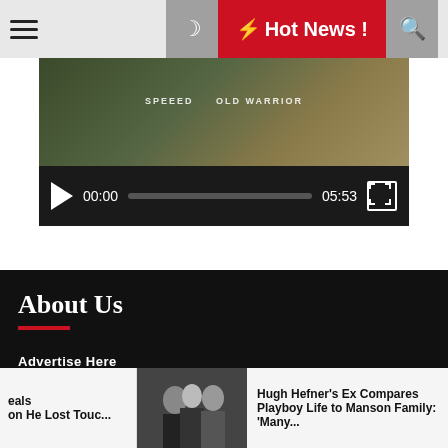Hot News !
[Figure (screenshot): Video player with thumbnail showing dark/military background with overlay text, controls bar showing 00:00 / 05:53]
About Us
Advertise Here
Contact Us
Disclosure Policy
Sitemap
eals
on He Lost Touc...
[Figure (photo): Photo of three people in formal attire]
Hugh Hefner's Ex Compares Playboy Life to Manson Family: 'Many...